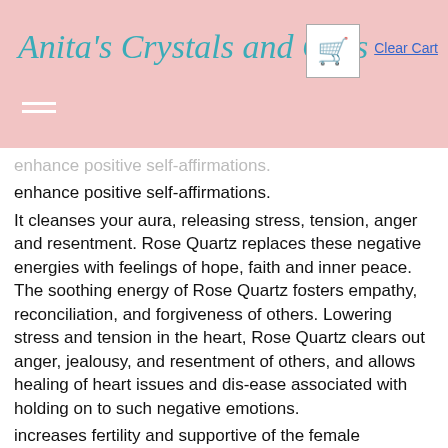Anita's Crystals and Gifts
enhance positive self-affirmations.
It cleanses your aura, releasing stress, tension, anger and resentment. Rose Quartz replaces these negative energies with feelings of hope, faith and inner peace. The soothing energy of Rose Quartz fosters empathy, reconciliation, and forgiveness of others. Lowering stress and tension in the heart, Rose Quartz clears out anger, jealousy, and resentment of others, and allows healing of heart issues and dis-ease associated with holding on to such negative emotions.
increases fertility and supportive of the female reproductive system
Helps to heal the energy of the heart. It opens your heart chakra so that more love can come into your life,